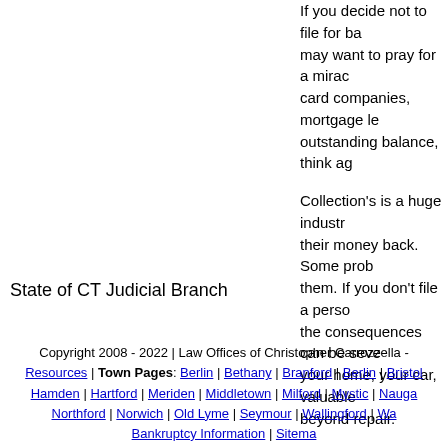If you decide not to file for ba... may want to pray for a mirac... card companies, mortgage le... outstanding balance, think ag...
State of CT Judicial Branch
Collection's is a huge industr... their money back. Some prob... them. If you don't file a perso... the consequences can be seve... your home, your car, valuable... beyond repair.
Don't let debt ruin yo...
Copyright 2008 - 2022 | Law Offices of Christopher Carrozzella - Resources | Town Pages: Berlin | Bethany | Branford | Berlin | Bristol... Hamden | Hartford | Meriden | Middletown | Milford | Mystic | Nauga... Northford | Norwich | Old Lyme | Seymour | Wallingford | Wa... Bankruptcy Information | Sitema...